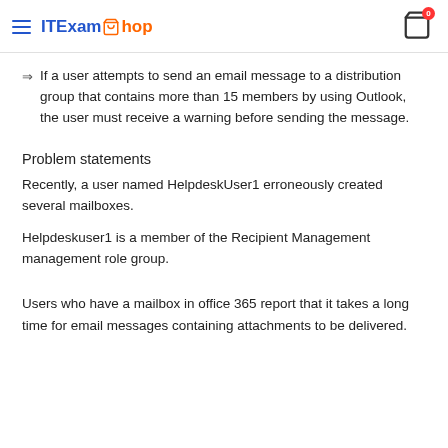ITExamShop
If a user attempts to send an email message to a distribution group that contains more than 15 members by using Outlook, the user must receive a warning before sending the message.
Problem statements
Recently, a user named HelpdeskUser1 erroneously created several mailboxes.
Helpdeskuser1 is a member of the Recipient Management management role group.
Users who have a mailbox in office 365 report that it takes a long time for email messages containing attachments to be delivered.